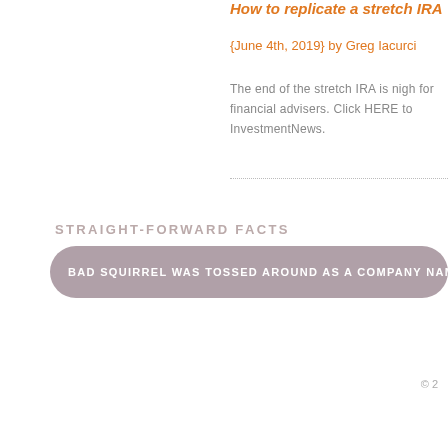How to replicate a stretch IRA
{June 4th, 2019} by Greg Iacurci
The end of the stretch IRA is nigh for financial advisers. Click HERE to InvestmentNews.
STRAIGHT-FORWARD FACTS
BAD SQUIRREL WAS TOSSED AROUND AS A COMPANY NAME IDEA
© 2